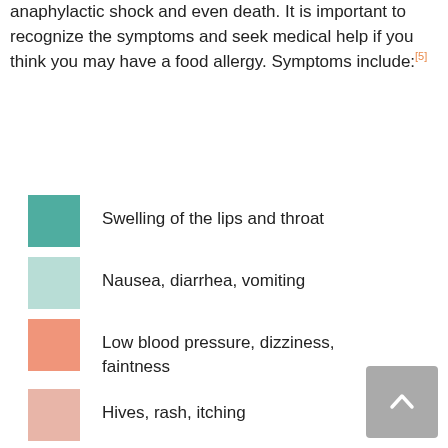anaphylactic shock and even death. It is important to recognize the symptoms and seek medical help if you think you may have a food allergy. Symptoms include:[5]
Swelling of the lips and throat
Nausea, diarrhea, vomiting
Low blood pressure, dizziness, faintness
Hives, rash, itching
Dry, itchy throat and tongue
Coughing, wheezing, difficulty breathing